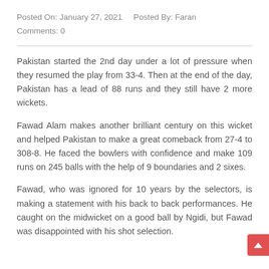Posted On: January 27, 2021   Posted By: Faran
Comments: 0
Pakistan started the 2nd day under a lot of pressure when they resumed the play from 33-4. Then at the end of the day, Pakistan has a lead of 88 runs and they still have 2 more wickets.
Fawad Alam makes another brilliant century on this wicket and helped Pakistan to make a great comeback from 27-4 to 308-8. He faced the bowlers with confidence and make 109 runs on 245 balls with the help of 9 boundaries and 2 sixes.
Fawad, who was ignored for 10 years by the selectors, is making a statement with his back to back performances. He caught on the midwicket on a good ball by Ngidi, but Fawad was disappointed with his shot selection.